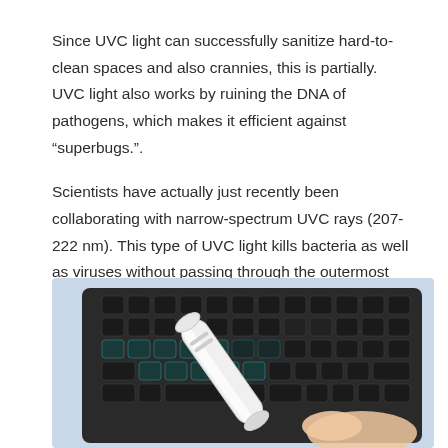Since UVC light can successfully sanitize hard-to-clean spaces and also crannies, this is partially. UVC light also works by ruining the DNA of pathogens, which makes it efficient against “superbugs.”.
Scientists have actually just recently been collaborating with narrow-spectrum UVC rays (207-222 nm). This type of UVC light kills bacteria as well as viruses without passing through the outermost cell layer of human skin.
[Figure (photo): A hand holding a white UV-C light wand/sanitizer device over a black computer keyboard on a light blue background.]